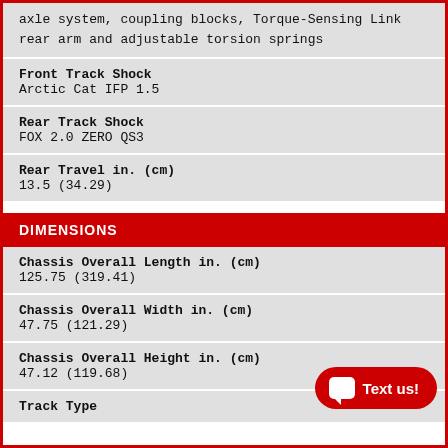axle system, coupling blocks, Torque-Sensing Link rear arm and adjustable torsion springs
| Front Track Shock | Arctic Cat IFP 1.5 |
| Rear Track Shock | FOX 2.0 ZERO QS3 |
| Rear Travel in. (cm) | 13.5 (34.29) |
DIMENSIONS
| Chassis Overall Length in. (cm) | 125.75 (319.41) |
| Chassis Overall Width in. (cm) | 47.75 (121.29) |
| Chassis Overall Height in. (cm) | 47.12 (119.68) |
| Track Type |  |